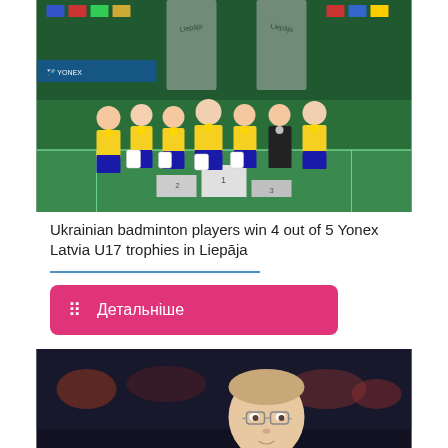[Figure (photo): Group photo of Ukrainian badminton players in yellow and blue uniforms holding medals and shopping bags at an indoor badminton court in Liepāja, with banners visible in the background.]
Ukrainian badminton players win 4 out of 5 Yonex Latvia U17 trophies in Liepāja
Детальніше
[Figure (photo): Photo of a man in a purple polo shirt at a badminton event, date-stamped 08.08.2022.]